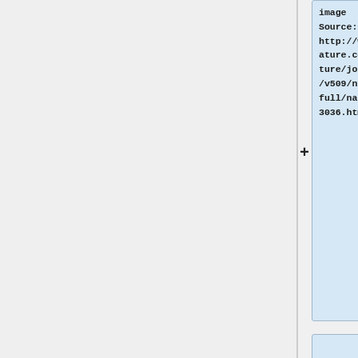Image Source: http://www.nature.com/nature/journal/v509/n7498/full/nature13036.html]]
Alterations in the conformation of the glycan shield of the HIV spike can constitute an effective escape mutation